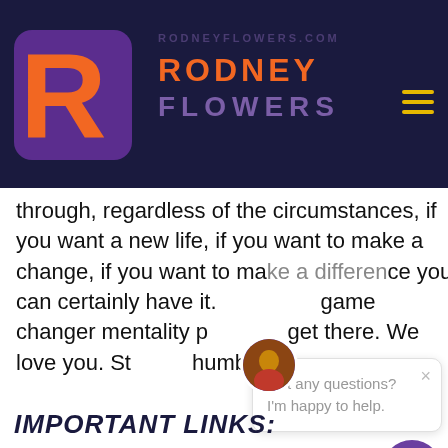[Figure (logo): Rodney Flowers brand logo: orange R letter on dark purple rounded square background, with RODNEY in orange and FLOWERS in purple text beside it]
through, regardless of the circumstances, if you want a new life, if you want to make a change, if you want to make a difference, you can certainly have it. ...game changer mentality p... get there. We love you. St... humble. Peace.
Got any questions? I'm happy to help.
IMPORTANT LINKS: